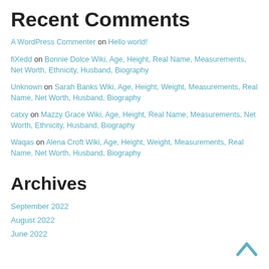Recent Comments
A WordPress Commenter on Hello world!
fiXedd on Bonnie Dolce Wiki, Age, Height, Real Name, Measurements, Net Worth, Ethnicity, Husband, Biography
Unknown on Sarah Banks Wiki, Age, Height, Weight, Measurements, Real Name, Net Worth, Husband, Biography
catxy on Mazzy Grace Wiki, Age, Height, Real Name, Measurements, Net Worth, Ethnicity, Husband, Biography
Waqas on Alena Croft Wiki, Age, Height, Weight, Measurements, Real Name, Net Worth, Husband, Biography
Archives
September 2022
August 2022
June 2022